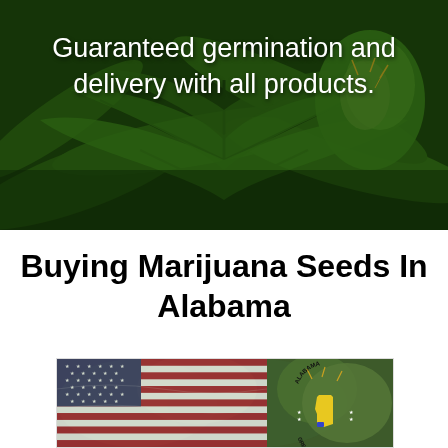[Figure (photo): Close-up photo of cannabis/marijuana plant with green leaves and buds, dark green overlay tint, with white text overlay reading 'Guaranteed germination and delivery with all products.']
Buying Marijuana Seeds In Alabama
[Figure (photo): Composite image showing American flag with cannabis buds, and the Alabama Great Seal circle logo on the right side]